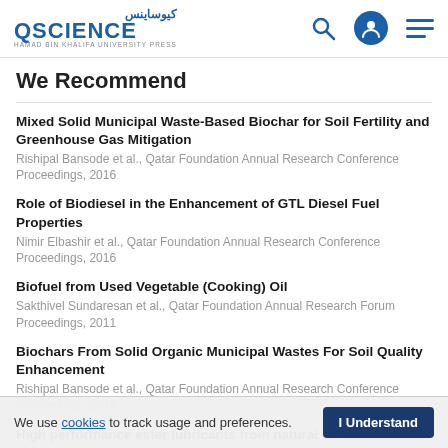QSCIENCE — Hamad Bin Khalifa University Press
We Recommend
Mixed Solid Municipal Waste-Based Biochar for Soil Fertility and Greenhouse Gas Mitigation
Rishipal Bansode et al., Qatar Foundation Annual Research Conference Proceedings, 2016
Role of Biodiesel in the Enhancement of GTL Diesel Fuel Properties
Nimir Elbashir et al., Qatar Foundation Annual Research Conference Proceedings, 2016
Biofuel from Used Vegetable (Cooking) Oil
Sakthivel Sundaresan et al., Qatar Foundation Annual Research Forum Proceedings, 2011
Biochars From Solid Organic Municipal Wastes For Soil Quality Enhancement
Rishipal Bansode et al., Qatar Foundation Annual Research Conference Proceedings, 2014
High performance ester lubricants from natural oils
We use cookies to track usage and preferences. I Understand